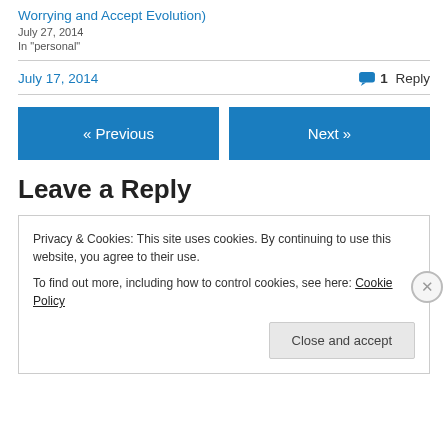Worrying and Accept Evolution)
July 27, 2014
In "personal"
July 17, 2014   1 Reply
« Previous   Next »
Leave a Reply
Privacy & Cookies: This site uses cookies. By continuing to use this website, you agree to their use. To find out more, including how to control cookies, see here: Cookie Policy
Close and accept